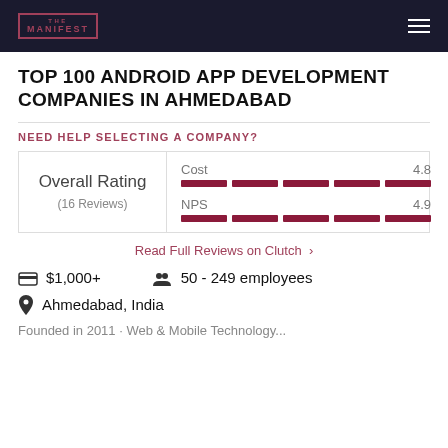THE MANIFEST
TOP 100 ANDROID APP DEVELOPMENT COMPANIES IN AHMEDABAD
NEED HELP SELECTING A COMPANY?
[Figure (infographic): Rating card showing Overall Rating (16 Reviews) with Cost 4.8 and NPS 4.9, each with a 5-segment dark red bar indicator]
Read Full Reviews on Clutch ›
$1,000+
50 - 249 employees
Ahmedabad, India